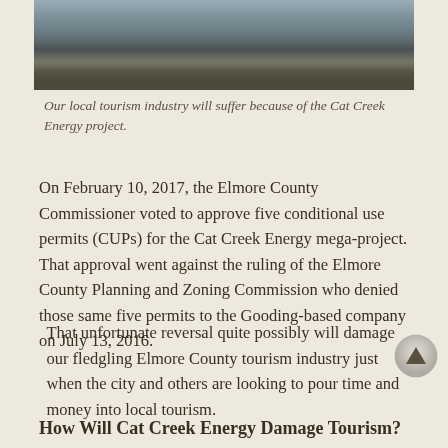[Figure (photo): Photograph of a road or rural landscape, partially cropped at top of page]
Our local tourism industry will suffer because of the Cat Creek Energy project.
On February 10, 2017, the Elmore County Commissioner voted to approve five conditional use permits (CUPs) for the Cat Creek Energy mega-project. That approval went against the ruling of the Elmore County Planning and Zoning Commission who denied those same five permits to the Gooding-based company on July 13, 2016.
That unfortunate reversal quite possibly will damage our fledgling Elmore County tourism industry just when the city and others are looking to pour time and money into local tourism.
How Will Cat Creek Energy Damage Tourism?